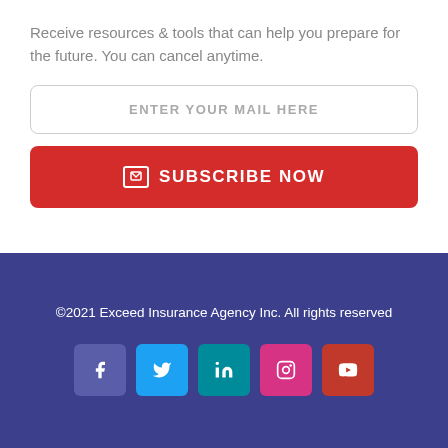Receive resources & tools that can help you prepare for the future. You can cancel anytime.
ENTER YOUR MAIL HERE
SUBSCRIBE NOW
©2021 Exceed Insurance Agency Inc. All rights reserved